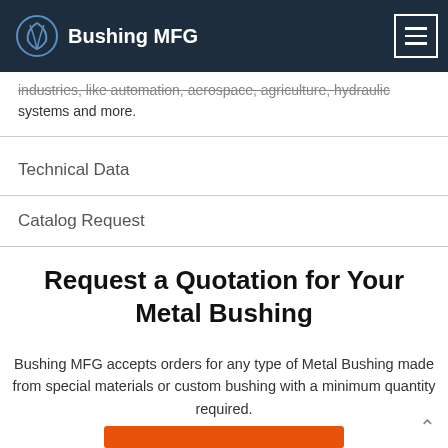Bushing MFG
industries, like automation, aerospace, agriculture, hydraulic systems and more.
Technical Data
Catalog Request
Request a Quotation for Your Metal Bushing
Bushing MFG accepts orders for any type of Metal Bushing made from special materials or custom bushing with a minimum quantity required.